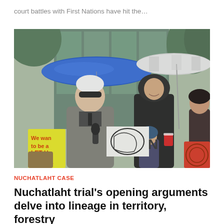court battles with First Nations have hit the…
[Figure (photo): Outdoor rally scene showing a man in a grey overcoat speaking into a microphone under a blue umbrella, with other people holding protest signs and umbrellas in the background. Signs read 'We want to be let to Rebuild' (yellow sign) and a red sign with Indigenous art. Several people stand in a crowd on a rainy day outside a building.]
NUCHATLAHT CASE
Nuchatlaht trial's opening arguments delve into lineage in territory, forestry